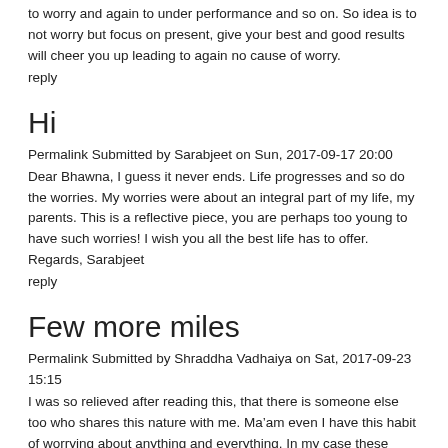to worry and again to under performance and so on. So idea is to not worry but focus on present, give your best and good results will cheer you up leading to again no cause of worry.
reply
Hi
Permalink Submitted by Sarabjeet on Sun, 2017-09-17 20:00
Dear Bhawna, I guess it never ends. Life progresses and so do the worries. My worries were about an integral part of my life, my parents. This is a reflective piece, you are perhaps too young to have such worries! I wish you all the best life has to offer. Regards, Sarabjeet
reply
Few more miles
Permalink Submitted by Shraddha Vadhaiya on Sat, 2017-09-23 15:15
I was so relieved after reading this, that there is someone else too who shares this nature with me. Ma’am even I have this habit of worrying about anything and everything. In my case these worries, this nature of mine is referred to as overthinking. My mind is never at peace and I am constantly thinking about something. Even while I am writing this I am thinking about my day ahead, worried that I have so much to do, worried that my best friend is organizing an event and I can’t even call her up, worried about